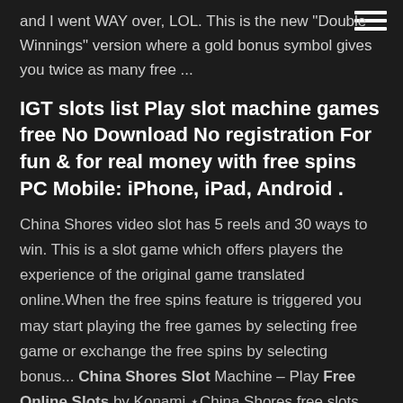hamburger menu icon
and I went WAY over, LOL. This is the new "Double Winnings" version where a gold bonus symbol gives you twice as many free ...
IGT slots list Play slot machine games free No Download No registration For fun & for real money with free spins PC Mobile: iPhone, iPad, Android .
China Shores video slot has 5 reels and 30 ways to win. This is a slot game which offers players the experience of the original game translated online.When the free spins feature is triggered you may start playing the free games by selecting free game or exchange the free spins by selecting bonus... China Shores Slot Machine – Play Free Online Slots by Konami ⋆China Shores free slots online by